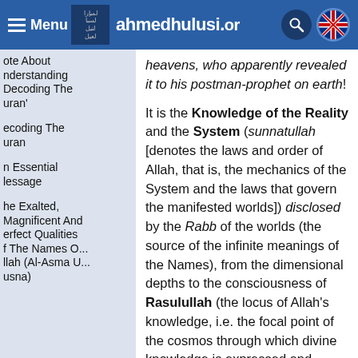Menu | ahmedhulusi.org
ote About
nderstanding
Decoding The
uran'
ecoding The
uran
n Essential
lessage
he Exalted,
Magnificent And
erfect Qualities
f The Names O...
llah (Al-Asma U...
usna)
heavens, who apparently revealed it to his postman-prophet on earth!
It is the Knowledge of the Reality and the System (sunnatullah [denotes the laws and order of Allah, that is, the mechanics of the System and the laws that govern the manifested worlds]) disclosed by the Rabb of the worlds (the source of the infinite meanings of the Names), from the dimensional depths to the consciousness of Rasulullah (the locus of Allah’s knowledge, i.e. the focal point of the cosmos through which divine knowledge is expressed and disseminated), through the act